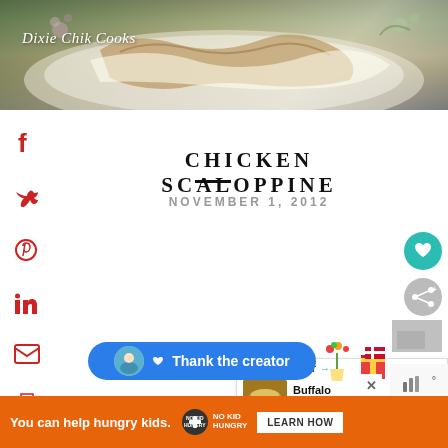[Figure (photo): Close-up photo of chicken scaloppine dish on a floral plate with creamy sauce, with 'Dixie Chik Cooks' text watermark]
CHICKEN SCALOPPINE
NOVEMBER 1, 2012
[Figure (screenshot): Social sharing sidebar with Facebook, Twitter, Pinterest, LinkedIn, Email, and Print icons in red on left side]
[Figure (screenshot): Heart/save button (teal circle) and share button on right side]
[Figure (infographic): What's Next panel showing Buffalo Chicken Dip with thumbnail image]
[Figure (screenshot): Thank the creator blue button with avatar and gift icons]
[Figure (screenshot): Advertisement bar: You can help hungry kids. No Kid Hungry logo and LEARN HOW button]